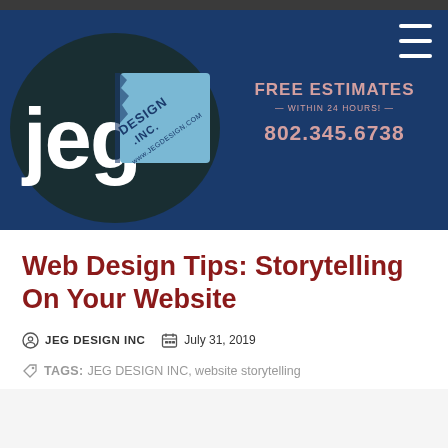[Figure (logo): JEG Design Inc. logo with stylized 'jeg' text and 'DESIGN.INC' text with www.jegdesign.com URL on a dark blue background banner, with FREE ESTIMATES tagline and phone number 802.345.6738]
Web Design Tips: Storytelling On Your Website
JEG DESIGN INC   July 31, 2019
TAGS: JEG DESIGN INC, website storytelling